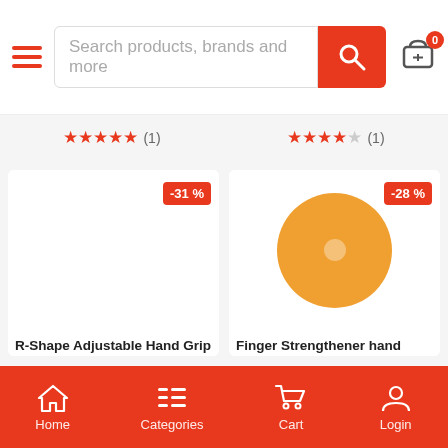Search products, brands and more
[Figure (screenshot): Product listing page of an e-commerce app showing two product cards: R-Shape Adjustable Hand Grip Sports Strength Exerci... at Rs. 484 (31% off) and Finger Strengthener hand piano grip at Rs. 289 (28% off). Bottom navigation bar with Home, Categories, Cart, Login.]
R-Shape Adjustable Hand Grip Sports Strength Exerci...
Rs. 484  Rs. 700
Finger Strengthener hand piano grip
Rs. 289  Rs. 400
Home  Categories  Cart  Login